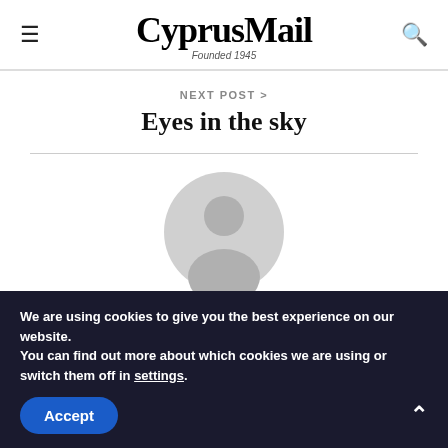CyprusMail Founded 1945
NEXT POST >
Eyes in the sky
[Figure (illustration): Default user avatar: grey circular silhouette of a person on white background]
Leo Leonidou
We are using cookies to give you the best experience on our website.
You can find out more about which cookies we are using or switch them off in settings.
Accept